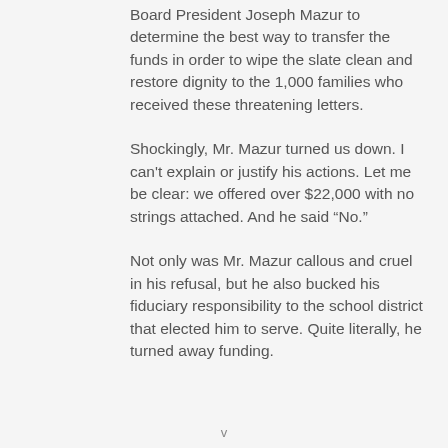Board President Joseph Mazur to determine the best way to transfer the funds in order to wipe the slate clean and restore dignity to the 1,000 families who received these threatening letters.
Shockingly, Mr. Mazur turned us down. I can't explain or justify his actions. Let me be clear: we offered over $22,000 with no strings attached. And he said “No.”
Not only was Mr. Mazur callous and cruel in his refusal, but he also bucked his fiduciary responsibility to the school district that elected him to serve. Quite literally, he turned away funding.
v